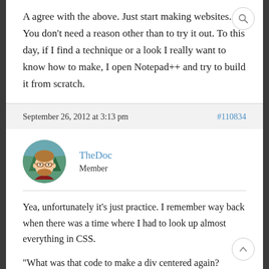A agree with the above. Just start making websites. You don't need a reason other than to try it out. To this day, if I find a technique or a look I really want to know how to make, I open Notepad++ and try to build it from scratch.
September 26, 2012 at 3:13 pm
#110834
TheDoc
Member
Yea, unfortunately it's just practice. I remember way back when there was a time where I had to look up almost everything in CSS.
"What was that code to make a div centered again? *Looks it up* Oh, right, `margin: 0 auto;`"